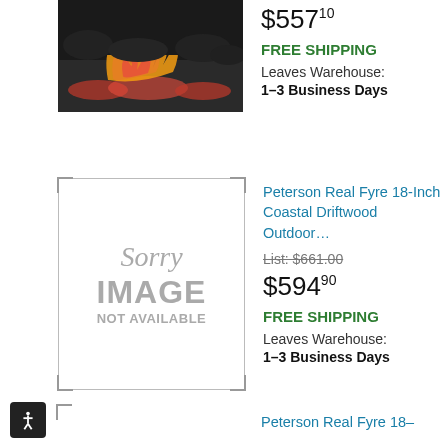[Figure (photo): Fireplace insert with glowing orange flames and dark rock/coal bed]
$557.10
FREE SHIPPING
Leaves Warehouse:
1-3 Business Days
[Figure (photo): Sorry Image Not Available placeholder with corner bracket border]
Peterson Real Fyre 18-Inch Coastal Driftwood Outdoor...
List: $661.00
$594.90
FREE SHIPPING
Leaves Warehouse:
1-3 Business Days
Peterson Real Fyre 18-